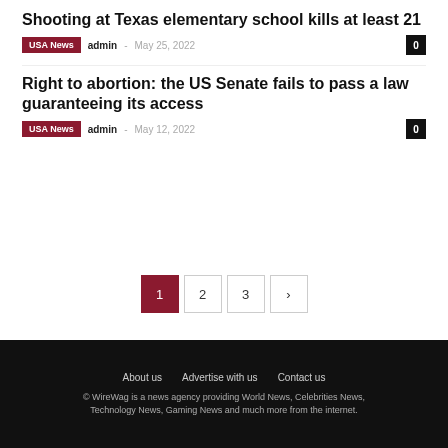Shooting at Texas elementary school kills at least 21
USA News  admin  -  May 25, 2022  0
Right to abortion: the US Senate fails to pass a law guaranteeing its access
USA News  admin  -  May 12, 2022  0
1  2  3  >
About us   Advertise with us   Contact us
© WireWag is a news agency providing World News, Celebrities News, Technology News, Gaming News and much more from the internet.